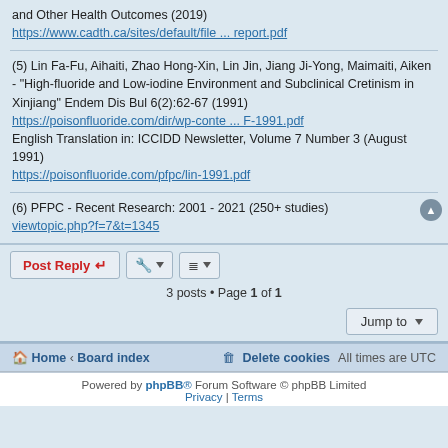and Other Health Outcomes (2019)
https://www.cadth.ca/sites/default/file ... report.pdf
(5) Lin Fa-Fu, Aihaiti, Zhao Hong-Xin, Lin Jin, Jiang Ji-Yong, Maimaiti, Aiken - "High-fluoride and Low-iodine Environment and Subclinical Cretinism in Xinjiang" Endem Dis Bul 6(2):62-67 (1991)
https://poisonfluoride.com/dir/wp-conte ... F-1991.pdf
English Translation in: ICCIDD Newsletter, Volume 7 Number 3 (August 1991)
https://poisonfluoride.com/pfpc/lin-1991.pdf
(6) PFPC - Recent Research: 2001 - 2021 (250+ studies)
viewtopic.php?f=7&t=1345
3 posts • Page 1 of 1
Home · Board index   Delete cookies   All times are UTC
Powered by phpBB® Forum Software © phpBB Limited
Privacy | Terms